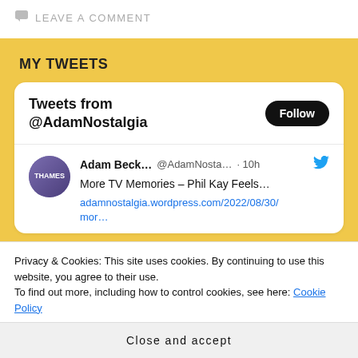LEAVE A COMMENT
MY TWEETS
[Figure (screenshot): Twitter widget showing 'Tweets from @AdamNostalgia' with a Follow button and a tweet by Adam Beck... @AdamNosta... · 10h: More TV Memories – Phil Kay Feels… adamnostalgia.wordpress.com/2022/08/30/mor…]
Privacy & Cookies: This site uses cookies. By continuing to use this website, you agree to their use.
To find out more, including how to control cookies, see here: Cookie Policy
Close and accept